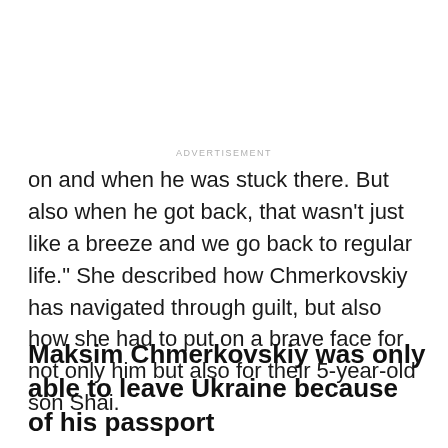ADVERTISEMENT
on and when he was stuck there. But also when he got back, that wasn't just like a breeze and we go back to regular life." She described how Chmerkovskiy has navigated through guilt, but also how she had to put on a brave face for not only him but also for their 5-year-old son Shai.
Maksim Chmerkovskiy was only able to leave Ukraine because of his passport